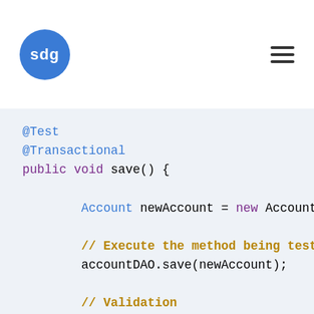[Figure (logo): SDG blue circle logo with white text 'sdg']
@Test
@Transactional
public void save() {

    Account newAccount = new Account("T...

    // Execute the method being tested
    accountDAO.save(newAccount);

    // Validation
    assertNotNull(newAccount.getId());
    Account reloaded = flushAndGet(newA...
    assertEquals(newAccount.getId(), re...
    assertEquals(newAccount.getName(),
}